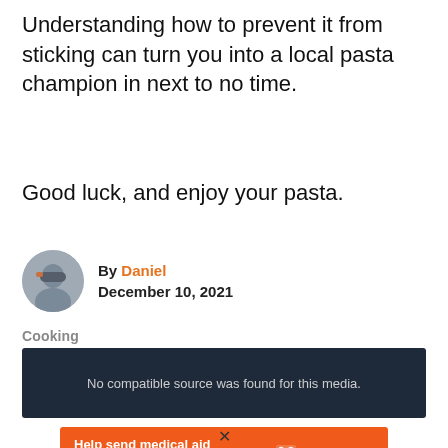Understanding how to prevent it from sticking can turn you into a local pasta champion in next to no time.
Good luck, and enjoy your pasta.
By Daniel
December 10, 2021
Cooking
[Figure (other): Dark media player area with message: No compatible source was found for this media.]
[Figure (other): Orange advertisement banner: Help send medical aid to Ukraine >> DirectRelief logo]